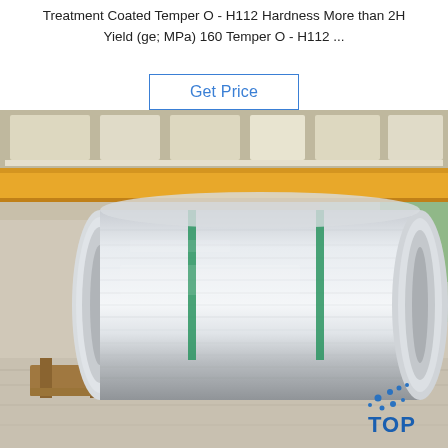Treatment Coated Temper O - H112 Hardness More than 2H Yield (ge; MPa) 160 Temper O - H112 ...
Get Price
[Figure (photo): Large aluminum coil rolls wrapped with green strapping bands, stored on wooden pallets inside a large industrial warehouse/factory. Overhead cranes with yellow beams are visible in the ceiling. A watermark TOP logo with blue dots appears in the bottom right corner. The pallet label reads 638/2308.]